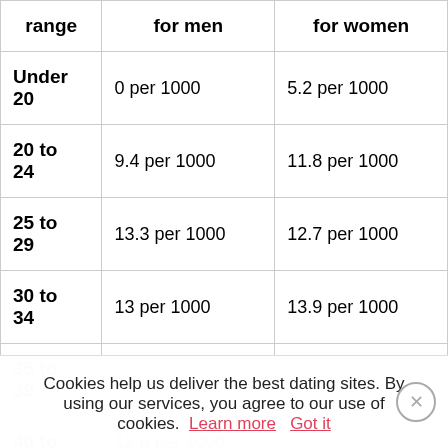| range | for men | for women |
| --- | --- | --- |
| Under 20 | 0 per 1000 | 5.2 per 1000 |
| 20 to 24 | 9.4 per 1000 | 11.8 per 1000 |
| 25 to 29 | 13.3 per 1000 | 12.7 per 1000 |
| 30 to 34 | 13 per 1000 | 13.9 per 1000 |
| 35 to 39 | … | … |
| 40 to … | 12.6 per 1000 | … |
Cookies help us deliver the best dating sites. By using our services, you agree to our use of cookies. Learn more  Got it